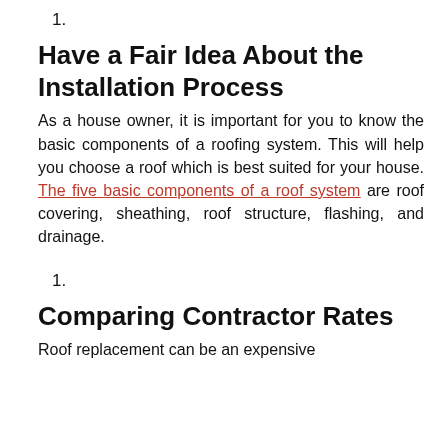1.
Have a Fair Idea About the Installation Process
As a house owner, it is important for you to know the basic components of a roofing system. This will help you choose a roof which is best suited for your house. The five basic components of a roof system are roof covering, sheathing, roof structure, flashing, and drainage.
1.
Comparing Contractor Rates
Roof replacement can be an expensive